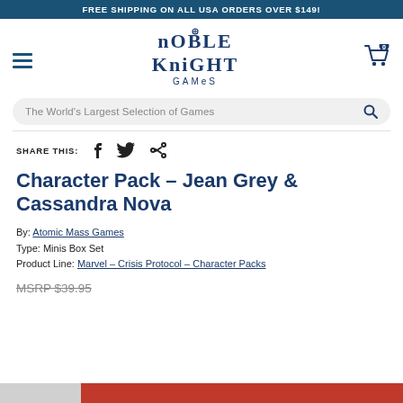FREE SHIPPING ON ALL USA ORDERS OVER $149!
[Figure (logo): Noble Knight Games logo with hamburger menu and cart icon showing 0 items]
The World's Largest Selection of Games
SHARE THIS:
Character Pack - Jean Grey & Cassandra Nova
By: Atomic Mass Games
Type: Minis Box Set
Product Line: Marvel - Crisis Protocol - Character Packs
MSRP $39.95